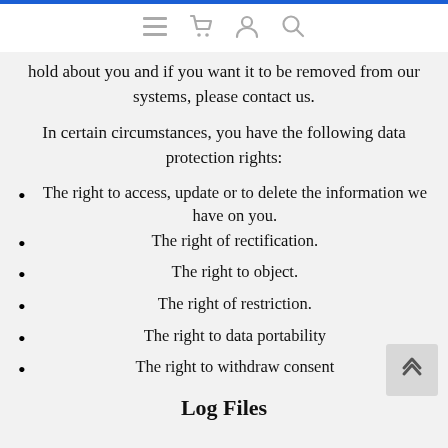[navigation icons: menu, basket, account, search]
hold about you and if you want it to be removed from our systems, please contact us.
In certain circumstances, you have the following data protection rights:
The right to access, update or to delete the information we have on you.
The right of rectification.
The right to object.
The right of restriction.
The right to data portability
The right to withdraw consent
Log Files